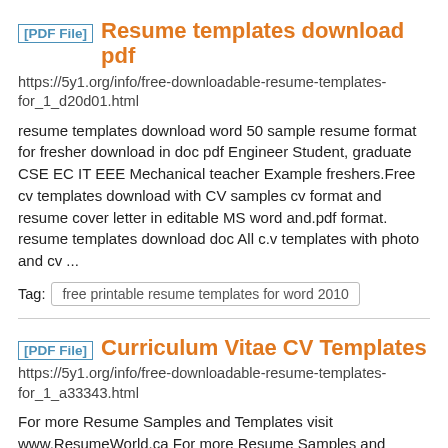[PDF File]  Resume templates download pdf
https://5y1.org/info/free-downloadable-resume-templates-for_1_d20d01.html
resume templates download word 50 sample resume format for fresher download in doc pdf Engineer Student, graduate CSE EC IT EEE Mechanical teacher Example freshers.Free cv templates download with CV samples cv format and resume cover letter in editable MS word and.pdf format. resume templates download doc All c.v templates with photo and cv ...
Tag: free printable resume templates for word 2010
[PDF File]  Curriculum Vitae CV Templates
https://5y1.org/info/free-downloadable-resume-templates-for_1_a33343.html
For more Resume Samples and Templates visit www.ResumeWorld.ca For more Resume Samples and Templates, visit www.ResumeWorld.ca Please Note: If relevant, other information including, Interests, Community Service, etc. can also